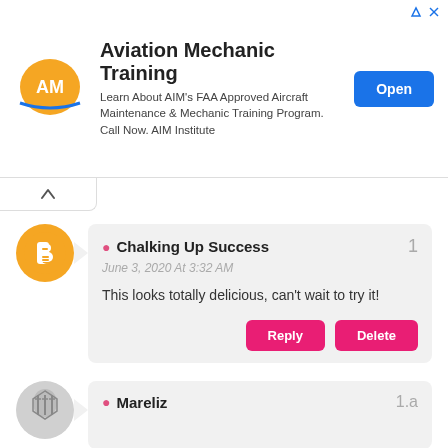[Figure (infographic): Advertisement banner for Aviation Mechanic Training by AIM Institute with logo, text, and Open button]
Aviation Mechanic Training
Learn About AIM's FAA Approved Aircraft Maintenance & Mechanic Training Program. Call Now. AIM Institute
Chalking Up Success
June 3, 2020 At 3:32 AM
This looks totally delicious, can't wait to try it!
Mareliz